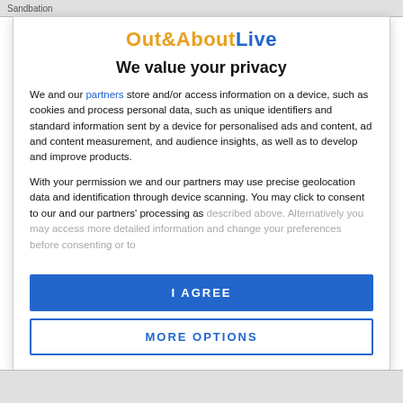Sandbation
[Figure (logo): Out&AboutLive logo with orange 'Out&About' and blue 'Live' text]
We value your privacy
We and our partners store and/or access information on a device, such as cookies and process personal data, such as unique identifiers and standard information sent by a device for personalised ads and content, ad and content measurement, and audience insights, as well as to develop and improve products.
With your permission we and our partners may use precise geolocation data and identification through device scanning. You may click to consent to our and our partners' processing as described above. Alternatively you may access more detailed information and change your preferences before consenting or to
I AGREE
MORE OPTIONS